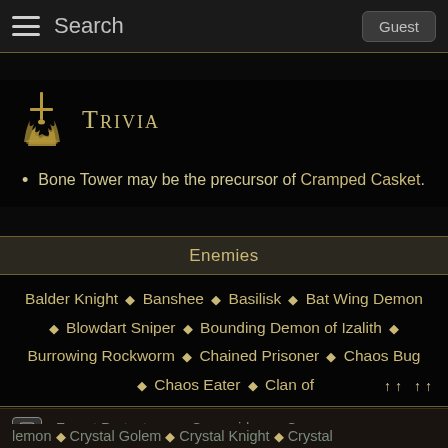Search  Guest
Trivia
Bone Tower may be the precursor of Cramped Casket.
| Enemies |
| --- |
| Balder Knight ◆ Banshee ◆ Basilisk ◆ Bat Wing Demon ◆ Blowdart Sniper ◆ Bounding Demon of Izalith ◆ Burrowing Rockworm ◆ Chained Prisoner ◆ Chaos Bug ◆ Chaos Eater ◆ Clan of Forest Protectors ◆ Cragspider ◆ Crow ◆ lemon ◆ Crystal Golem ◆ Crystal Knight ◆ Crystal |
Forest Protectors ◆ Cragspider ◆ Crow  lemon ◆ Crystal Golem ◆ Crystal Knight ◆ Crystal